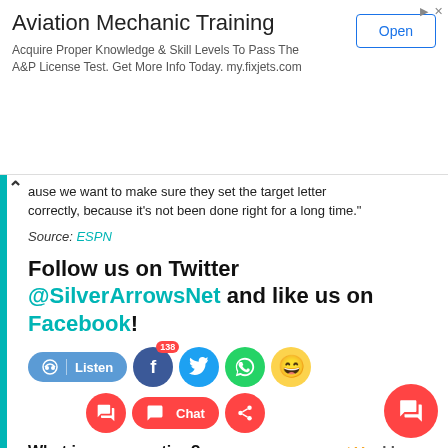[Figure (screenshot): Advertisement banner for Aviation Mechanic Training with Open button]
ause we want to make sure they set the target letter correctly, because it's not been done right for a long time."
Source: ESPN
Follow us on Twitter @SilverArrowsNet and like us on Facebook!
[Figure (screenshot): Social media buttons: Listen, Facebook (138), Twitter, WhatsApp, emoji laugh; second row: comment, Chat, share]
What is your reaction? — Powered by Vuukle
[Figure (screenshot): Reaction emojis row with 0% labels: happy, neutral, sad, laughing-crying]